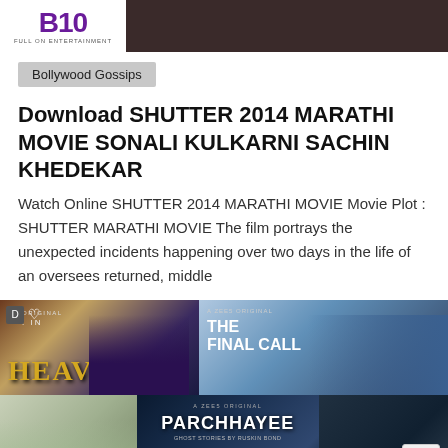[Figure (logo): B10 FULL ON ENTERTAINMENT logo in purple with dark header bar]
Bollywood Gossips
Download SHUTTER 2014 MARATHI MOVIE SONALI KULKARNI SACHIN KHEDEKAR
Watch Online SHUTTER 2014 MARATHI MOVIE Movie Plot : SHUTTER MARATHI MOVIE The film portrays the unexpected incidents happening over two days in the life of an oversees returned, middle
[Figure (screenshot): Movie poster grid showing: Made in Heaven, The Final Call (ZEE5 Original), a group/ensemble image, Parchhayee Ghost Stories by Ruskin Bond (ZEE5 Original), and an action movie poster]